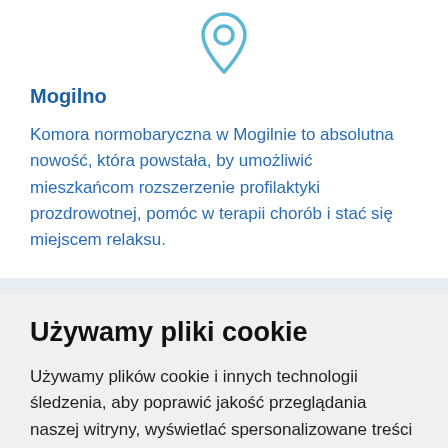[Figure (illustration): Light blue location pin / map marker icon, outline style]
Mogilno
Komora normobaryczna w Mogilnie to absolutna nowość, która powstała, by umożliwić mieszkańcom rozszerzenie profilaktyki prozdrowotnej, pomóc w terapii chorób i stać się miejscem relaksu.
Używamy pliki cookie
Używamy plików cookie i innych technologii śledzenia, aby poprawić jakość przeglądania naszej witryny, wyświetlać spersonalizowane treści i reklamy, analizować ruch w naszej